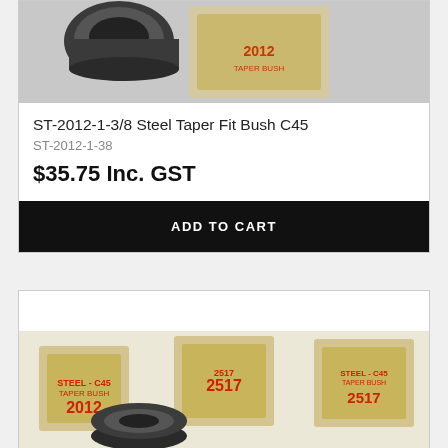[Figure (photo): Photo of ST-2012-1-3/8 Steel Taper Fit Bush C45 with product box]
ST-2012-1-3/8 Steel Taper Fit Bush C45
ST-2012-1-38
$35.75 Inc. GST
ADD TO CART
[Figure (photo): Photo of Steel Taper Bush boxes labeled 2012 and 2517 with metal bushings]